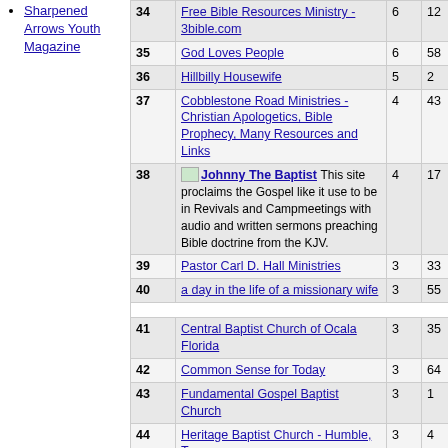Sharpened Arrows Youth Magazine
| # | Site | Votes | Count |
| --- | --- | --- | --- |
| 34 | Free Bible Resources Ministry - 3bible.com | 6 | 12 |
| 35 | God Loves People | 6 | 58 |
| 36 | Hillbilly Housewife | 5 | 2 |
| 37 | Cobblestone Road Ministries - Christian Apologetics, Bible Prophecy, Many Resources and Links | 4 | 43 |
| 38 | Johnny The Baptist - This site proclaims the Gospel like it use to be in Revivals and Campmeetings with audio and written sermons preaching Bible doctrine from the KJV. | 4 | 17 |
| 39 | Pastor Carl D. Hall Ministries | 3 | 33 |
| 40 | a day in the life of a missionary wife | 3 | 55 |
| 41 | Central Baptist Church of Ocala Florida | 3 | 35 |
| 42 | Common Sense for Today | 3 | 64 |
| 43 | Fundamental Gospel Baptist Church | 3 | 1 |
| 44 | Heritage Baptist Church - Humble, Texas | 3 | 4 |
| 45 | ChildCare Action Project (CAP) Ministry - Christian Movie Analysis Reports for Parents | 3 | 39 |
| 46 | Shofar Sounder WebSite | 3 | 0 |
| 47 | The Bible-Believing Fundamentalist - Daily audio Bible studies, sermon outlines, | 3 | 50 |